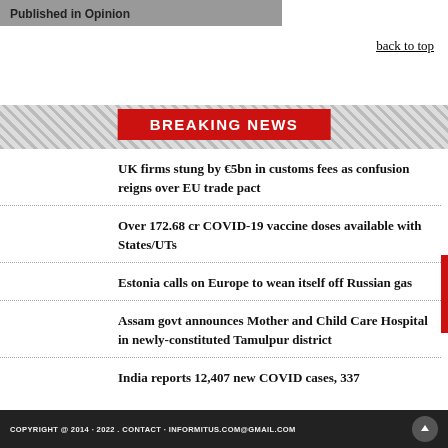Published in  Opinion
back to top
BREAKING NEWS
UK firms stung by €5bn in customs fees as confusion reigns over EU trade pact
Over 172.68 cr COVID-19 vaccine doses available with States/UTs
Estonia calls on Europe to wean itself off Russian gas
Assam govt announces Mother and Child Care Hospital in newly-constituted Tamulpur district
India reports 12,407 new COVID cases, 337...
COPYRIGHT @ 2014 · 2022 . CONTACT · INFORMITUS.COM@GMAIL.COM